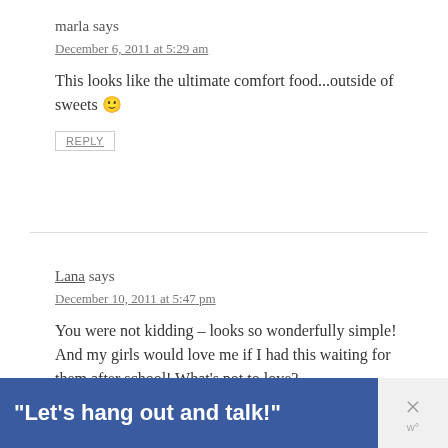marla says
December 6, 2011 at 5:29 am
This looks like the ultimate comfort food...outside of sweets 🙂
REPLY
Lana says
December 10, 2011 at 5:47 pm
You were not kidding – looks so wonderfully simple! And my girls would love me if I had this waiting for them after school! What's not to love?
[Figure (infographic): Blue advertisement banner with white bold text reading: "Let's hang out and talk!" with a close button (X) and WordPress logo on the right side]